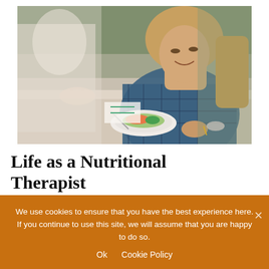[Figure (photo): A smiling woman with long blonde hair wearing a blue plaid shirt, sitting at a table with a plate of food (salad with salmon and broccoli) in front of her. Another person in the background is partially blurred.]
Life as a Nutritional Therapist
One of the wonderful things about my
We use cookies to ensure that you have the best experience here. If you continue to use this site, we will assume that you are happy to do so.
Ok   Cookie Policy